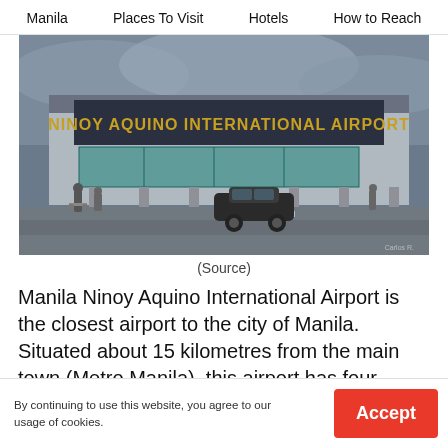Manila | Places To Visit | Hotels | How to Reach
[Figure (photo): Exterior photo of Ninoy Aquino International Airport terminal building with signage, people, and a car in the foreground on a cloudy day.]
(Source)
Manila Ninoy Aquino International Airport is the closest airport to the city of Manila. Situated about 15 kilometres from the main town (Metro Manila), this airport has four terminals and two runways. It is commonly known as NAIA.
By continuing to use this website, you agree to our usage of cookies.